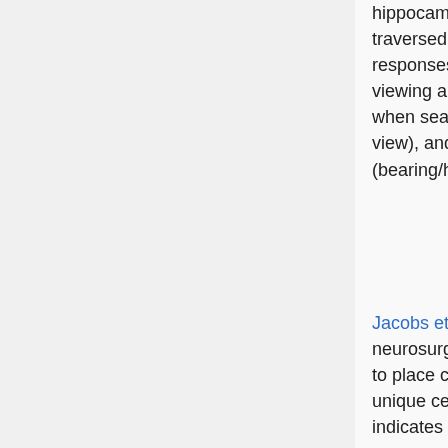hippocampus, become active when a given spatial location is being traversed Ekstrom et al. (2003). We also identified several other cellular responses during navigation: cells that become active in response to viewing a salient landmark (from any location), cells that become active when searching for a particular goal location (irrespective of location or view), and cells that respond when traveling in a given direction (bearing/heading).
Jacobs et al. (2010b) examined recordings of single-neuron activity from neurosurgical patients playing a virtual-navigation video game. In addition to place cells, which encode the current virtual location, we describe a unique cell type, entorhinal cortex (EC) path cells, the activity of which indicates whether the patient is in a given location...